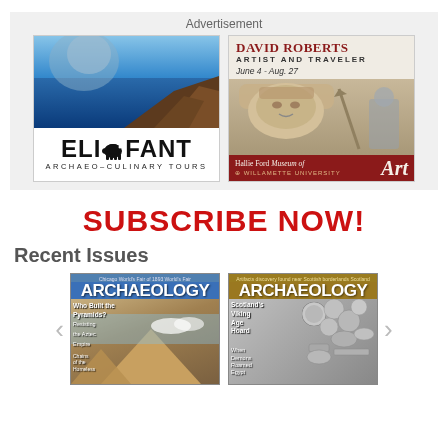Advertisement
[Figure (illustration): ELIFANT Archaeo-Culinary Tours advertisement showing coastal cliff scene with blue sea and ELIFANT logo with elephant silhouette]
[Figure (illustration): David Roberts Artist and Traveler exhibition ad June 4 - Aug. 27 at Hallie Ford Museum of Art, Willamette University, showing sphinx/Egyptian sculpture imagery]
SUBSCRIBE NOW!
Recent Issues
[Figure (illustration): Archaeology magazine cover - Who Built the Pyramids? Resisting the Aztec Empire, Chains of the Homeless - with pyramid imagery]
[Figure (illustration): Archaeology magazine cover - Scotland's Viking Age Hoard, When Demons Roamed Egypt - with coin hoard imagery]